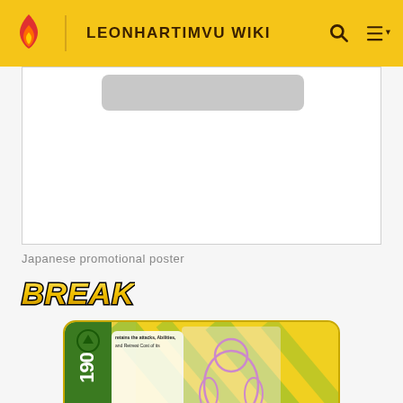LEONHARTIMVU WIKI
[Figure (photo): Japanese promotional poster placeholder image with gray rounded rectangle at top]
Japanese promotional poster
[Figure (logo): BREAK logo in bold yellow and black stylized text]
[Figure (photo): Pokemon BREAK trading card with yellow and green design, showing 190 HP, ability text, and Pokemon silhouette]